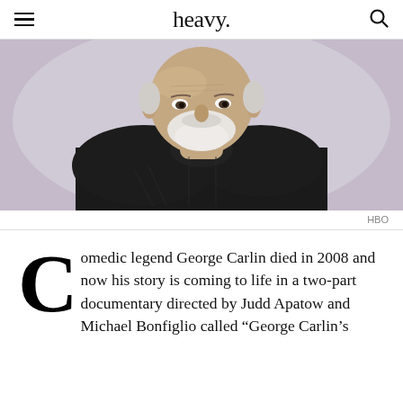heavy.
[Figure (photo): Elderly man with white beard and bald head wearing a dark sweater, leaning forward, photographed against a light lavender/grey background. Photo credit: HBO.]
HBO
Comedic legend George Carlin died in 2008 and now his story is coming to life in a two-part documentary directed by Judd Apatow and Michael Bonfiglio called "George Carlin's...